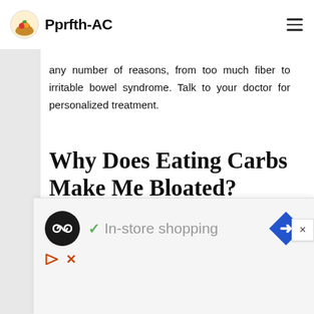Pprfth-AC
any number of reasons, from too much fiber to irritable bowel syndrome. Talk to your doctor for personalized treatment.
Why Does Eating Carbs Make Me Bloated?
[Figure (photo): Two people smiling, blurred background, outdoor or dining setting]
[Figure (infographic): Advertisement banner: circular logo with infinity-like symbol, checkmark, text 'In-store shopping', blue diamond with arrow icon, play and close icons at bottom]